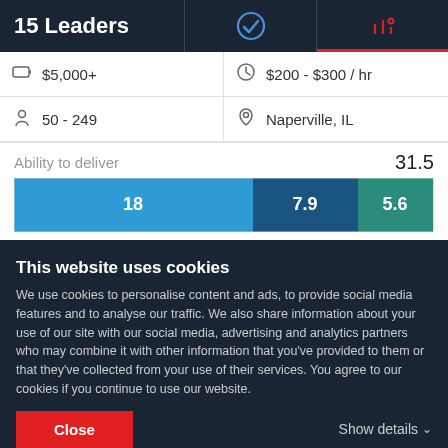15 Leaders
| $5,000+ | $200 - $300 / hr |
| 50 - 249 | Naperville, IL |
Ability to deliver
[Figure (stacked-bar-chart): Ability to deliver]
Reviews
This website uses cookies
We use cookies to personalise content and ads, to provide social media features and to analyse our traffic. We also share information about your use of our site with our social media, advertising and analytics partners who may combine it with other information that you've provided to them or that they've collected from your use of their services. You agree to our cookies if you continue to use our website.
Close
Show details